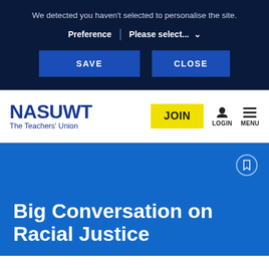We detected you haven’t selected to personalise the site.
Preference | Please select... ⌄
SAVE
CLOSE
[Figure (logo): NASUWT The Teachers’ Union logo in dark blue]
JOIN
LOGIN
MENU
Big Conversation on Racial Justice